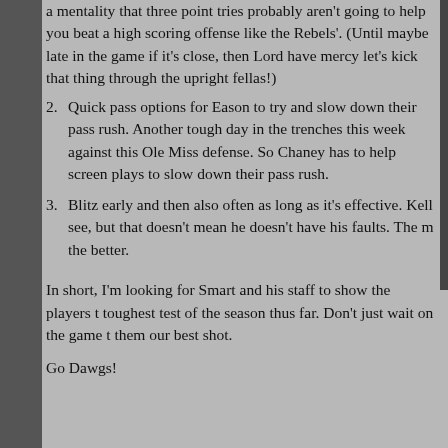a mentality that three point tries probably aren't going to help you beat a high scoring offense like the Rebels'. (Until maybe late in the game if it's close, then Lord have mercy let's kick that thing through the upright fellas!)
2. Quick pass options for Eason to try and slow down their pass rush. Another tough day in the trenches this week against this Ole Miss defense. So Chaney has to help screen plays to slow down their pass rush.
3. Blitz early and then also often as long as it's effective. Kell see, but that doesn't mean he doesn't have his faults. The m the better.
In short, I'm looking for Smart and his staff to show the players t toughest test of the season thus far. Don't just wait on the game t them our best shot.
Go Dawgs!